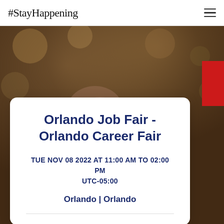#StayHappening
[Figure (photo): Background photo of a bald man looking downward, with warm brown/olive bokeh background. A red banner is partially visible in the top right corner.]
Orlando Job Fair - Orlando Career Fair
TUE NOV 08 2022 AT 11:00 AM TO 02:00 PM UTC-05:00
Orlando | Orlando